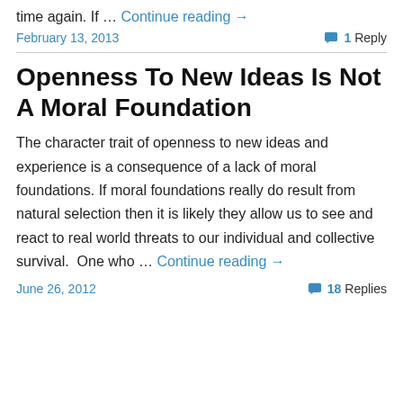time again. If … Continue reading →
February 13, 2013   💬 1 Reply
Openness To New Ideas Is Not A Moral Foundation
The character trait of openness to new ideas and experience is a consequence of a lack of moral foundations. If moral foundations really do result from natural selection then it is likely they allow us to see and react to real world threats to our individual and collective survival.  One who … Continue reading →
June 26, 2012   💬 18 Replies